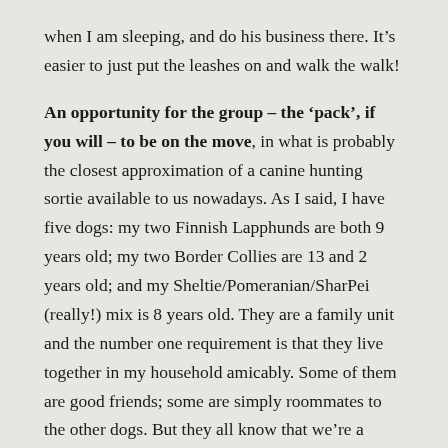when I am sleeping, and do his business there.  It's easier to just put the leashes on and walk the walk!
An opportunity for the group – the 'pack', if you will – to be on the move, in what is probably the closest approximation of a canine hunting sortie available to us nowadays.  As I said, I have five dogs: my two Finnish Lapphunds are both 9 years old; my two Border Collies are 13 and 2 years old; and my Sheltie/Pomeranian/SharPei (really!) mix is 8 years old.  They are a family unit and the number one requirement is that they live together in my household amicably.  Some of them are good friends; some are simply roommates to the other dogs.  But they all know that we're a family, a unit.  The social